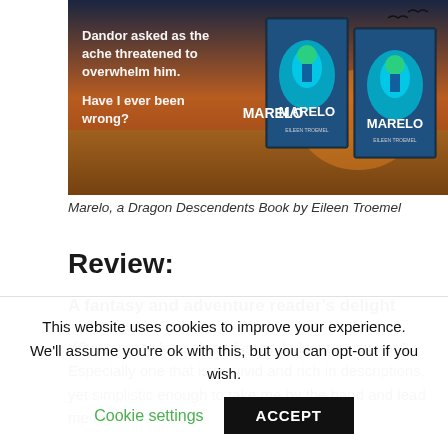[Figure (illustration): Book promotional image showing two copies of 'Marelo, a Dragon Descendents' book by Eileen Troemel against a dark fantasy background with a beach at sunset. Text overlay reads: 'Dandor asked as the ache threatened to overwhelm him. Have I ever been wrong?']
Marelo, a Dragon Descendents Book by Eileen Troemel
Review:
A fantasy and adventure reader's delight
What's not to love about fantasy/adventure stories? Especially one that is so vivid and rich in descriptions, yet simplistic enough to take me by the hand and lead me to
This website uses cookies to improve your experience. We'll assume you're ok with this, but you can opt-out if you wish.